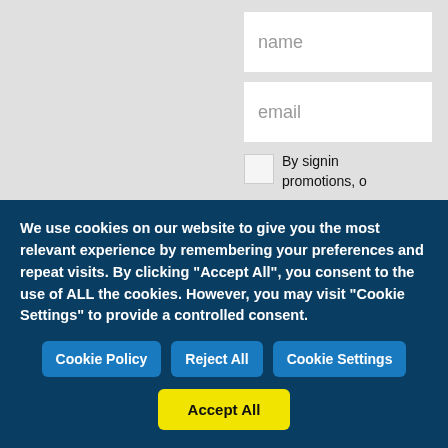name
email
By signin promotions, o
We use cookies on our website to give you the most relevant experience by remembering your preferences and repeat visits. By clicking "Accept All", you consent to the use of ALL the cookies. However, you may visit "Cookie Settings" to provide a controlled consent.
Cookie Policy
Reject All
Cookie Settings
Accept All